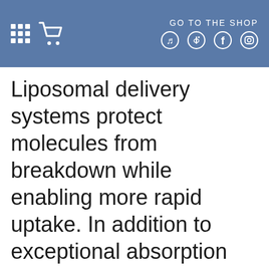GO TO THE SHOP
Liposomal delivery systems protect molecules from breakdown while enabling more rapid uptake. In addition to exceptional absorption rates, these tiny liposomal and nanoemulsified particles increase diffusion